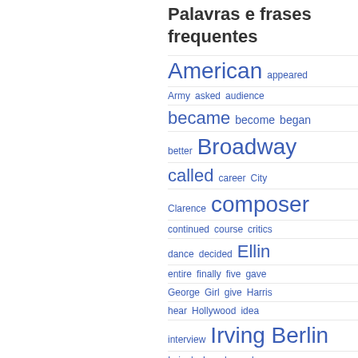Palavras e frases frequentes
American  appeared  Army  asked  audience  became  become  began  better  Broadway  called  career  City  Clarence  composer  continued  course  critics  dance  decided  Ellin  entire  finally  five  gave  George  Girl  give  Harris  hear  Hollywood  idea  interview  Irving Berlin  Irving's  Izzy  knew  known  later  lived  looked  Love  Mackay  Marie  married